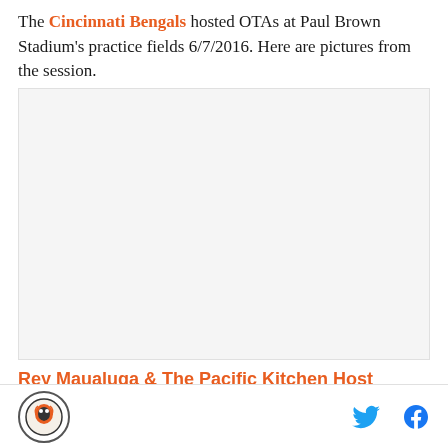The Cincinnati Bengals hosted OTAs at Paul Brown Stadium's practice fields 6/7/2016. Here are pictures from the session.
[Figure (photo): Photo placeholder — practice field photo from Bengals OTAs session 6/7/2016]
Rey Maualuga & The Pacific Kitchen Host Bengals'
Site logo | Twitter icon | Facebook icon